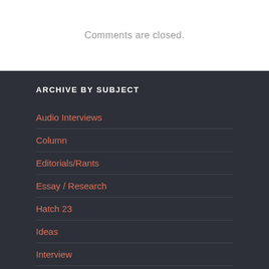Comments are closed.
ARCHIVE BY SUBJECT
Audio Interviews
Column
Editorials/Rants
Essay / Research
Hatch 23
Ideas
Interview
Link